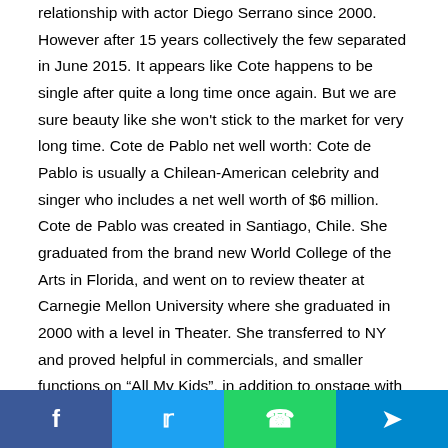relationship with actor Diego Serrano since 2000. However after 15 years collectively the few separated in June 2015. It appears like Cote happens to be single after quite a long time once again. But we are sure beauty like she won't stick to the market for very long time. Cote de Pablo net well worth: Cote de Pablo is usually a Chilean-American celebrity and singer who includes a net well worth of $6 million. Cote de Pablo was created in Santiago, Chile. She graduated from the brand new World College of the Arts in Florida, and went on to review theater at Carnegie Mellon University where she graduated in 2000 with a level in Theater. She transferred to NY and proved helpful in commercials, and smaller functions on “All My Kids”, in addition to onstage with the brand new York Public Theater. She’s also won various other awards for
Facebook | Twitter | WhatsApp | Telegram